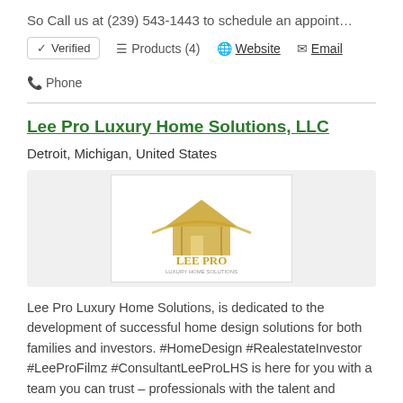So Call us at (239) 543-1443 to schedule an appoint…
✓ Verified  ☰ Products (4)  🌐 Website  ✉ Email  📞 Phone
Lee Pro Luxury Home Solutions, LLC
Detroit, Michigan, United States
[Figure (logo): Lee Pro Luxury Home Solutions LLC logo — gold house silhouette with swoosh and company name]
Lee Pro Luxury Home Solutions, is dedicated to the development of successful home design solutions for both families and investors. #HomeDesign #RealestateInvestor #LeeProFilmz #ConsultantLeeProLHS is here for you with a team you can trust – professionals with the talent and expertise to handle ev…
✓ Verified  ☰ Products (4)  🌐 Website  ✉ Email  📞 Phone
Logo For Work
Boca Raton, Florida, United States
[Figure (logo): Logo For Work company logo — dark rectangular logo partially visible]